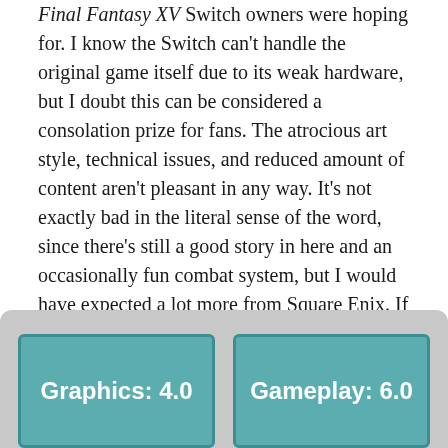Final Fantasy XV Pocket Edition HD is definitely not the Final Fantasy XV Switch owners were hoping for. I know the Switch can't handle the original game itself due to its weak hardware, but I doubt this can be considered a consolation prize for fans. The atrocious art style, technical issues, and reduced amount of content aren't pleasant in any way. It's not exactly bad in the literal sense of the word, since there's still a good story in here and an occasionally fun combat system, but I would have expected a lot more from Square Enix. If I were you, I'd just wait until proper Final Fantasy games like IX come out for the system. If you want to enjoy this specific iteration, I'd say just grab the actual mobile version instead.
[Figure (infographic): Score boxes showing Graphics: 4.0 and Gameplay: 6.0 on teal/grey background]